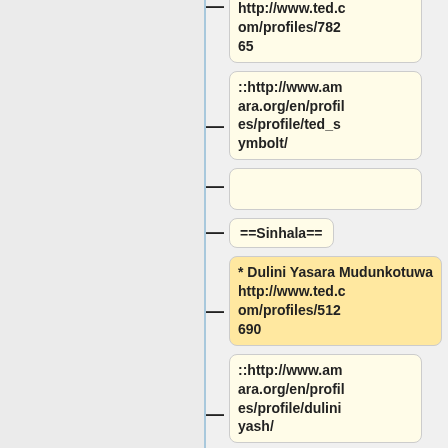http://www.ted.com/profiles/78265
::http://www.amara.org/en/profiles/profile/ted_symbolt/
==Sinhala==
* Dulini Yasara Mudunkotuwa
http://www.ted.com/profiles/512690
::http://www.amara.org/en/profiles/profile/duliniyash/